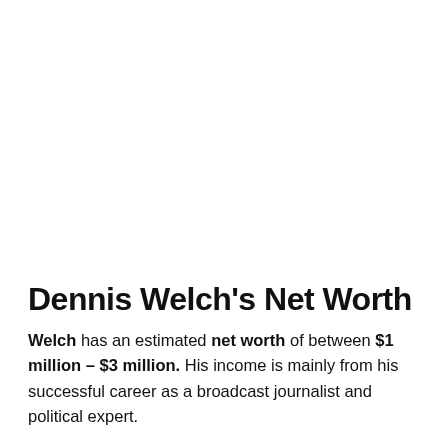Dennis Welch's Net Worth
Welch has an estimated net worth of between $1 million – $3 million. His income is mainly from his successful career as a broadcast journalist and political expert.